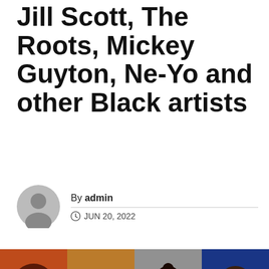Jill Scott, The Roots, Mickey Guyton, Ne-Yo and other Black artists
By admin
JUN 20, 2022
[Figure (photo): Strip of four photos showing four Black artists performing or posing: a woman singing into a microphone, a man with glasses, a smiling woman in a red outfit, and a man performing with a microphone]